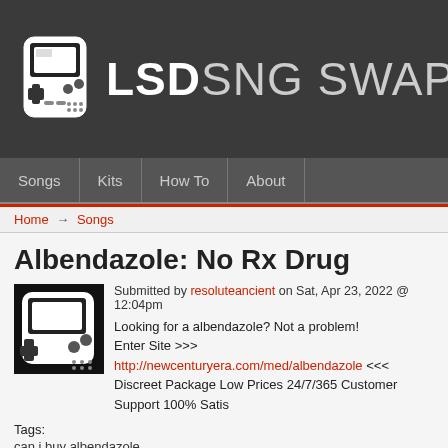LSDSNG SWAP
Songs | Kits | How To | About
Home → Songs
Albendazole: No Rx Drug
Submitted by resoluteancient on Sat, Apr 23, 2022 @ 12:04pm
Looking for a albendazole? Not a problem!
Enter Site >>> http://newcenturyera.com/med/albendazole <<<
Discreet Package Low Prices 24/7/365 Customer Support 100% Satis
Tags:
can i buy albendazole
albendazole directions